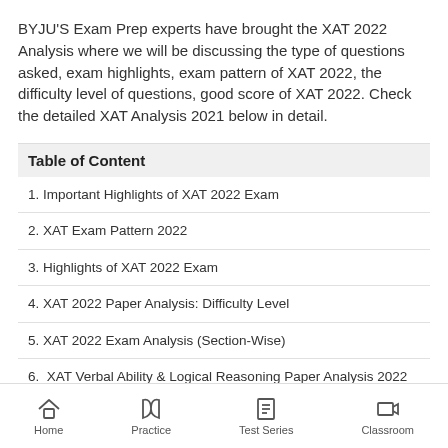BYJU'S Exam Prep experts have brought the XAT 2022 Analysis where we will be discussing the type of questions asked, exam highlights, exam pattern of XAT 2022, the difficulty level of questions, good score of XAT 2022. Check the detailed XAT Analysis 2021 below in detail.
Table of Content
1. Important Highlights of XAT 2022 Exam
2. XAT Exam Pattern 2022
3. Highlights of XAT 2022 Exam
4. XAT 2022 Paper Analysis: Difficulty Level
5. XAT 2022 Exam Analysis (Section-Wise)
6.  XAT Verbal Ability & Logical Reasoning Paper Analysis 2022
Home   Practice   Test Series   Classroom